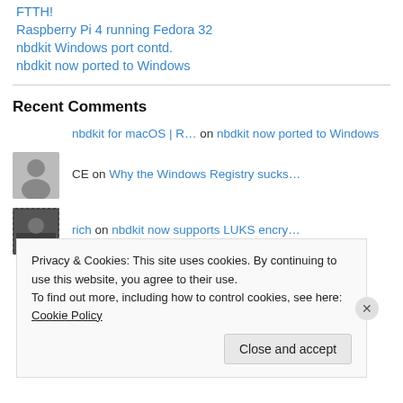FTTH!
Raspberry Pi 4 running Fedora 32
nbdkit Windows port contd.
nbdkit now ported to Windows
Recent Comments
nbdkit for macOS | R… on nbdkit now ported to Windows
CE on Why the Windows Registry sucks…
rich on nbdkit now supports LUKS encry…
Privacy & Cookies: This site uses cookies. By continuing to use this website, you agree to their use.
To find out more, including how to control cookies, see here: Cookie Policy
Close and accept